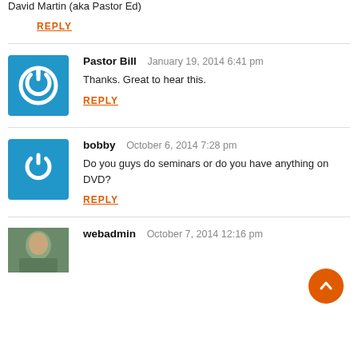David Martin (aka Pastor Ed)
REPLY
Pastor Bill   January 19, 2014 6:41 pm
Thanks. Great to hear this.
REPLY
bobby   October 6, 2014 7:28 pm
Do you guys do seminars or do you have anything on DVD?
REPLY
webadmin   October 7, 2014 12:16 pm